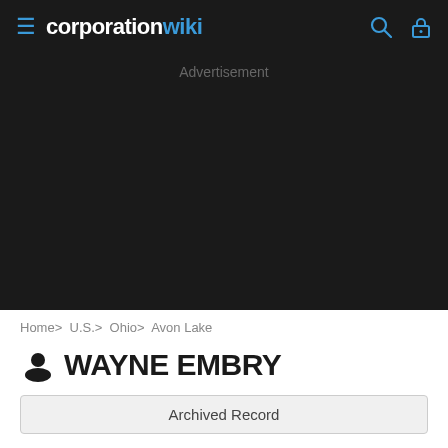corporation wiki
Advertisement
Home> U.S.> Ohio> Avon Lake
WAYNE EMBRY
Archived Record
Avon Lake, OH
Previous Director for Avient Corporation
(440)930-1000